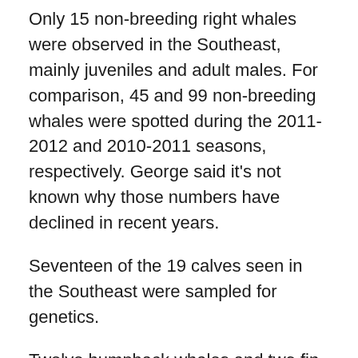Only 15 non-breeding right whales were observed in the Southeast, mainly juveniles and adult males. For comparison, 45 and 99 non-breeding whales were spotted during the 2011-2012 and 2010-2011 seasons, respectively. George said it's not known why those numbers have declined in recent years.
Seventeen of the 19 calves seen in the Southeast were sampled for genetics.
Twelve humpback whales and two fin whales were also spotted.
A 2-year-old right whale washed up dead on a north Florida beach Dec. 18. Preliminary findings suggest it died from entanglement. A length of rope more than two football fields long was wrapped around its tail. No other entangled whales were seen.